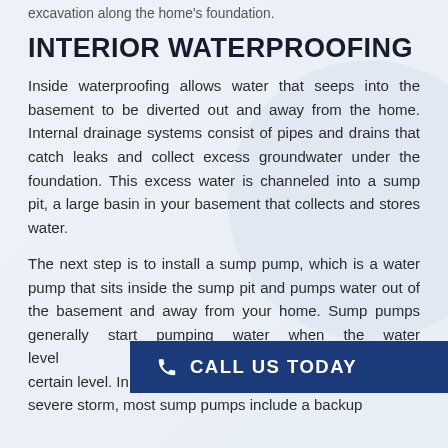excavation along the home's foundation.
INTERIOR WATERPROOFING
Inside waterproofing allows water that seeps into the basement to be diverted out and away from the home. Internal drainage systems consist of pipes and drains that catch leaks and collect excess groundwater under the foundation. This excess water is channeled into a sump pit, a large basin in your basement that collects and stores water.
The next step is to install a sump pump, which is a water pump that sits inside the sump pit and pumps water out of the basement and away from your home. Sump pumps generally start pumping water when the water level [rises in the pit to a] certain level. In the ca[se of a particularly] severe storm, most sump pumps include a backup
[Figure (other): Call Us Today CTA button banner in dark navy blue with phone icon and text CALL US TODAY]